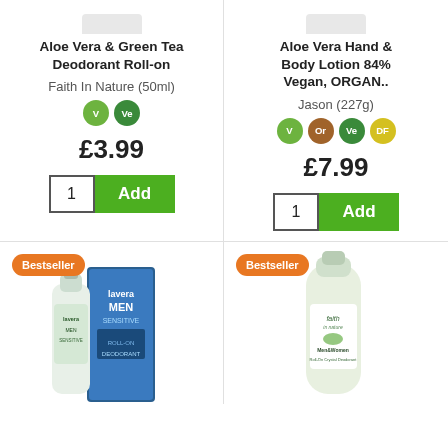Aloe Vera & Green Tea Deodorant Roll-on
Faith In Nature (50ml)
[Figure (infographic): V and Ve green badge icons]
£3.99
[Figure (infographic): Quantity 1 input and Add button]
Aloe Vera Hand & Body Lotion 84% Vegan, ORGAN..
Jason (227g)
[Figure (infographic): V, Or, Ve, DF badge icons]
£7.99
[Figure (infographic): Quantity 1 input and Add button]
[Figure (photo): Lavera Men roll-on product with Bestseller badge]
[Figure (photo): Faith in Nature Men&Women Roll-On Crystal Deodorant with Bestseller badge]